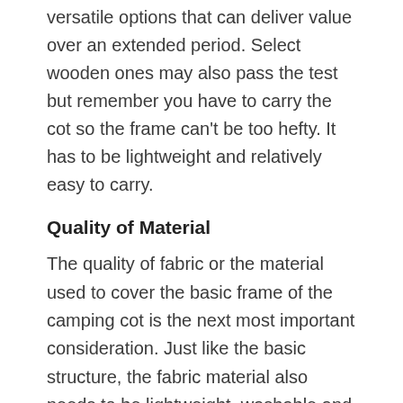versatile options that can deliver value over an extended period. Select wooden ones may also pass the test but remember you have to carry the cot so the frame can't be too hefty. It has to be lightweight and relatively easy to carry.
Quality of Material
The quality of fabric or the material used to cover the basic frame of the camping cot is the next most important consideration. Just like the basic structure, the fabric material also needs to be lightweight, washable and comfortable to sleep on. A prickly fabric can significantly hamper your sleep, and you can end up tossing and turning in the bed despite a cot. The natural fiber based blends offer the most compelling options and have